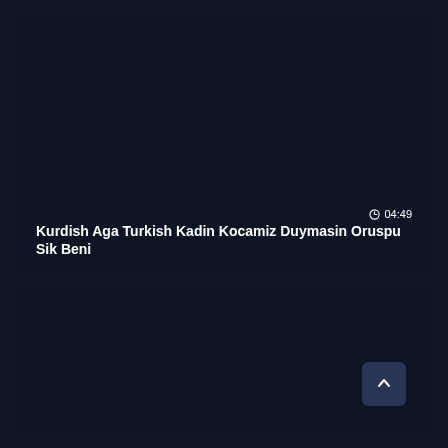[Figure (screenshot): Dark navy video thumbnail card (top), mostly dark background]
04:49
Kurdish Aga Turkish Kadin Kocamiz Duymasin Oruspu Sik Beni
[Figure (screenshot): Dark navy second video thumbnail card (bottom), mostly dark background with a scroll-to-top button in the bottom right corner]